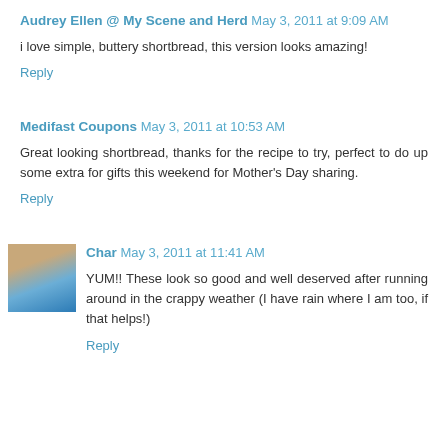Audrey Ellen @ My Scene and Herd May 3, 2011 at 9:09 AM
i love simple, buttery shortbread, this version looks amazing!
Reply
Medifast Coupons May 3, 2011 at 10:53 AM
Great looking shortbread, thanks for the recipe to try, perfect to do up some extra for gifts this weekend for Mother's Day sharing.
Reply
Char May 3, 2011 at 11:41 AM
YUM!! These look so good and well deserved after running around in the crappy weather (I have rain where I am too, if that helps!)
Reply